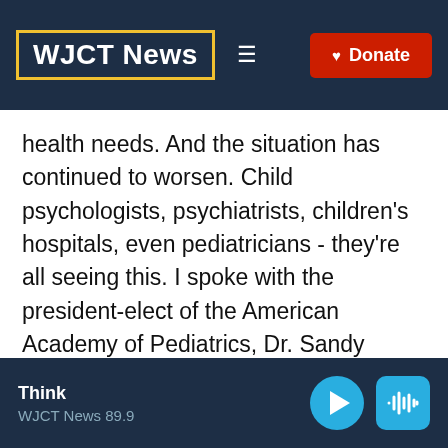WJCT News
health needs. And the situation has continued to worsen. Child psychologists, psychiatrists, children's hospitals, even pediatricians - they're all seeing this. I spoke with the president-elect of the American Academy of Pediatrics, Dr. Sandy Chung. She and her colleagues did a survey of pediatricians in Virginia, where she's located, about their experiences with this, and here's what she said.
Think
WJCT News 89.9